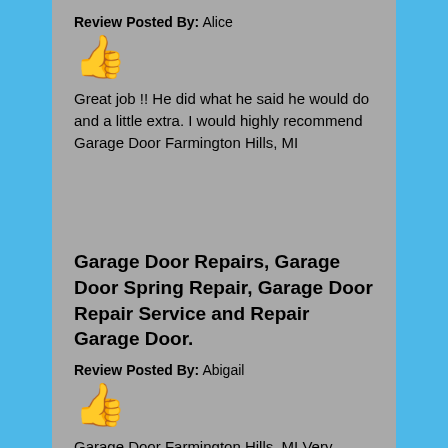Review Posted By: Alice
[Figure (illustration): Thumbs up icon]
Great job !! He did what he said he would do and a little extra. I would highly recommend Garage Door Farmington Hills, MI
Garage Door Repairs, Garage Door Spring Repair, Garage Door Repair Service and Repair Garage Door.
Review Posted By: Abigail
[Figure (illustration): Thumbs up icon]
Garage Door Farmington Hills, MI Very professional. Reasonable prices. Uses technology very well with his business, I will use this company again.